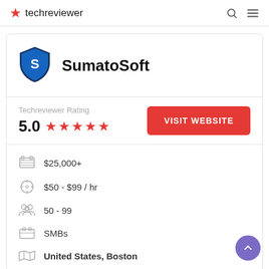techreviewer
[Figure (logo): SumatoSoft company shield logo in blue]
SumatoSoft
Techreviewer Rating
5.0 ★★★★★
VISIT WEBSITE
$25,000+
$50 - $99 / hr
50 - 99
SMBs
United States, Boston